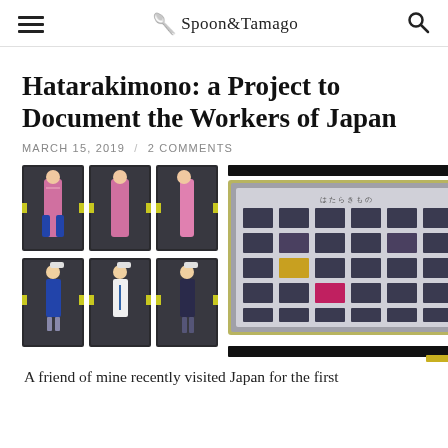Spoon&Tamago
Hatarakimono: a Project to Document the Workers of Japan
MARCH 15, 2019 / 2 COMMENTS
[Figure (photo): Six portrait-style photographs of Japanese workers in uniform, arranged in a 2-row by 3-column grid on dark backgrounds with yellow measurement markers. Top row shows three women in pink floral outfits (front, front, side views). Bottom row shows three workers in blue/white uniforms with helmets (side views).]
[Figure (photo): A framed display showing a grid of many small portrait photographs of workers, resembling a stamp sheet or contact sheet, mounted in a gold/yellow frame on a gray background, with black bars above and below.]
A friend of mine recently visited Japan for the first